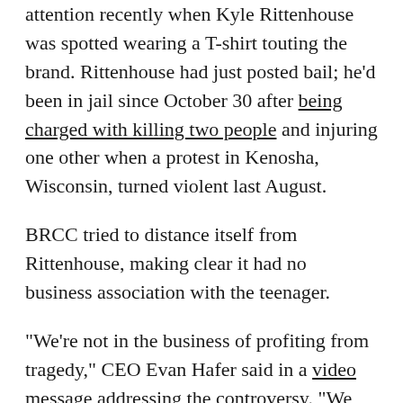attention recently when Kyle Rittenhouse was spotted wearing a T-shirt touting the brand. Rittenhouse had just posted bail; he'd been in jail since October 30 after being charged with killing two people and injuring one other when a protest in Kenosha, Wisconsin, turned violent last August.
BRCC tried to distance itself from Rittenhouse, making clear it had no business association with the teenager.
“We’re not in the business of profiting from tragedy,” CEO Evan Hafer said in a video message addressing the controversy. “We have zero interest in collecting one dollar from any of this—it is ethically inappropriate for us to do so or even give the perception,” said Hafer.
But Hafer’s attempt to distance the company from an alleged gunman earned him some new enemies: